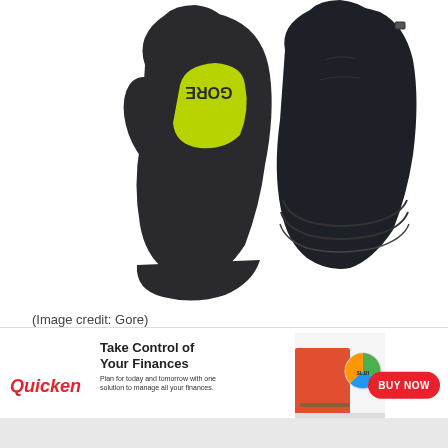[Figure (photo): Two running gloves from Gore brand — one showing the palm side with neon yellow/lime green accent panel and Gore logo text, the other showing the back side in black fabric, photographed on white background.]
(Image credit: Gore)
Once you've experienced a gloveless run where your fingers go numb and you have to get someone else to undo your shoelaces at the end you will never run gloveless again.
[Figure (other): Advertisement banner for Quicken software: logo on left, headline 'Take Control of Your Finances', subtext 'Plan for today and tomorrow with one solution to manage all your finances.', image of woman with financial chart in center, red 'BUY NOW' button on right. Close (x) button top right.]